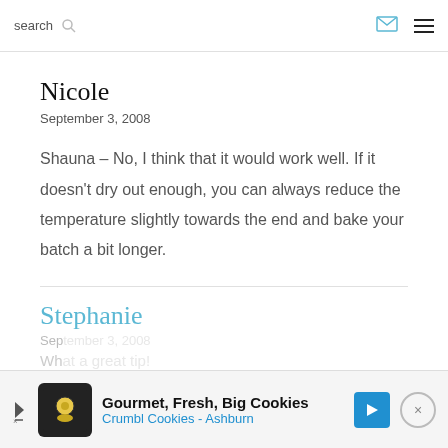search [search icon] [email icon] [menu icon]
Nicole
September 3, 2008
Shauna – No, I think that it would work well. If it doesn't dry out enough, you can always reduce the temperature slightly towards the end and bake your batch a bit longer.
Stephanie
Sep...
Wh...
Gourmet, Fresh, Big Cookies Crumbl Cookies - Ashburn